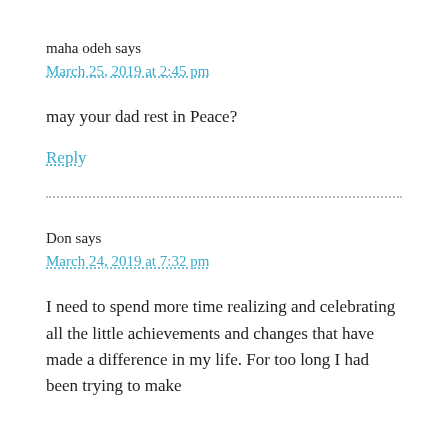maha odeh says
March 25, 2019 at 2:45 pm
may your dad rest in Peace?
Reply
Don says
March 24, 2019 at 7:32 pm
I need to spend more time realizing and celebrating all the little achievements and changes that have made a difference in my life. For too long I had been trying to make